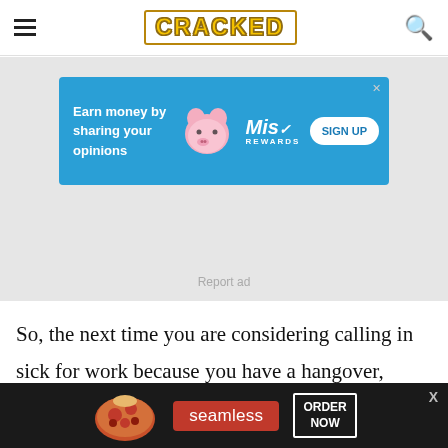CRACKED
[Figure (infographic): Advertisement banner: blue background with pig cartoon, Mist Rewards logo, 'Earn money by sharing your opinions' text, and SIGN UP button. Large grey ad area with 'Report ad' text below.]
So, the next time you are considering calling in sick for work because you have a hangover, remember Shelford's ball sack. Then print out a picture of a torn scrotum and pin it to the wall of your cubicle to
[Figure (infographic): Bottom advertisement bar: dark background with pizza image, 'seamless' pill button in red, and 'ORDER NOW' outlined button in white. X close button at top right.]